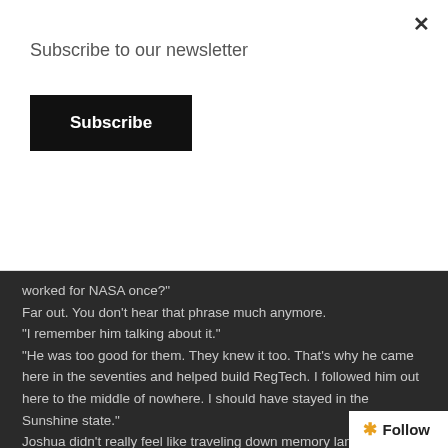Subscribe to our newsletter
Subscribe
worked for NASA once?"
Far out. You don't hear that phrase much anymore.
"I remember him talking about it."
"He was too good for them. They knew it too. That's why he came here in the seventies and helped build RegTech. I followed him out here to the middle of nowhere. I should have stayed in the Sunshine state."
Joshua didn't really feel like traveling down memory lane. "Well, I have to go get some lunch. See you around, Larry."
Taggert nodded and started walking towards the cafeteria. Joshua went back to his cube and plopped down in his chair. He didn't feel like coding. He didn't feel like doing anything. He logged on and did some searches for snare drums causing arrhythmia. Nothing turned up, just like he figured. He probably should not have told Nik about the murder plot. He hop
Follow